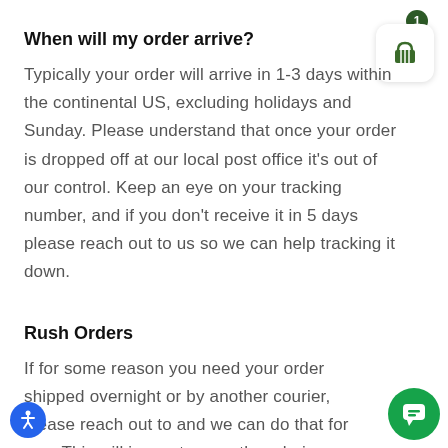When will my order arrive?
Typically your order will arrive in 1-3 days within the continental US, excluding holidays and Sunday. Please understand that once your order is dropped off at our local post office it's out of our control. Keep an eye on your tracking number, and if you don't receive it in 5 days please reach out to us so we can help tracking it down.
[Figure (infographic): Shopping cart icon with badge showing number 1, inside a white rounded rectangle widget in the top right corner]
Rush Orders
If for some reason you need your order shipped overnight or by another courier, please reach out to and we can do that for you. This will in most cases though, incur shipping charges for your order, but we
[Figure (infographic): Blue accessibility icon button in bottom left corner]
[Figure (infographic): Green chat bubble icon button in bottom right corner]